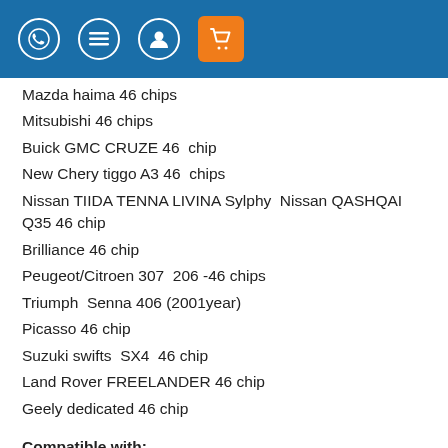[Navigation bar with WhatsApp icon, menu icon, profile icon, cart icon]
Mazda haima 46 chips
Mitsubishi 46 chips
Buick GMC CRUZE 46  chip
New Chery tiggo A3 46  chips
Nissan TIIDA TENNA LIVINA Sylphy  Nissan QASHQAI Q35 46 chip
Brilliance 46 chip
Peugeot/Citroen 307  206 -46 chips
Triumph  Senna 406 (2001year)
Picasso 46 chip
Suzuki swifts  SX4  46 chip
Land Rover FREELANDER 46 chip
Geely dedicated 46 chip
Compatible with:
CN900/ND900/TRS-5000 key programmer